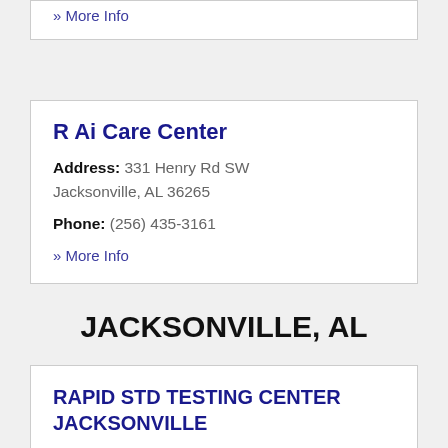» More Info
R Ai Care Center
Address: 331 Henry Rd SW Jacksonville, AL 36265
Phone: (256) 435-3161
» More Info
JACKSONVILLE, AL
RAPID STD TESTING CENTER JACKSONVILLE
Address: 320 BRANSCOMB DR SW, SUITE